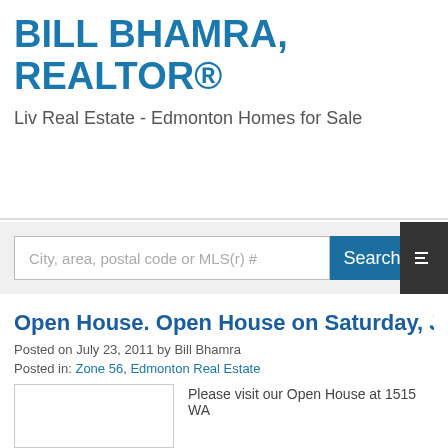BILL BHAMRA, REALTOR®
Liv Real Estate - Edmonton Homes for Sale
City, area, postal code or MLS(r) #
Open House. Open House on Saturday, July 23, 2...
Posted on July 23, 2011 by Bill Bhamra
Posted in: Zone 56, Edmonton Real Estate
Please visit our Open House at 1515 WA...